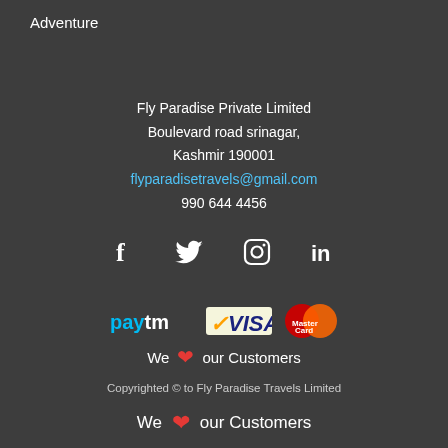Adventure
Fly Paradise Private Limited
Boulevard road srinagar,
Kashmir 190001
flyparadisetravels@gmail.com
990 644 4456
[Figure (illustration): Social media icons: Facebook, Twitter, Instagram, LinkedIn]
[Figure (logo): Payment logos: Paytm, VISA, MasterCard]
We ❤ our Customers
Copyrighted © to Fly Paradise Travels Limited
We ❤ our Customers